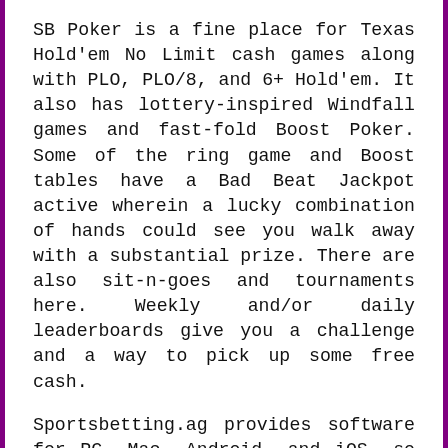SB Poker is a fine place for Texas Hold'em No Limit cash games along with PLO, PLO/8, and 6+ Hold'em. It also has lottery-inspired Windfall games and fast-fold Boost Poker. Some of the ring game and Boost tables have a Bad Beat Jackpot active wherein a lucky combination of hands could see you walk away with a substantial prize. There are also sit-n-goes and tournaments here. Weekly and/or daily leaderboards give you a challenge and a way to pick up some free cash.
Sportsbetting.ag provides software for PC, Mac, Android, and iOS, so you can get your fill of the poker action from almost